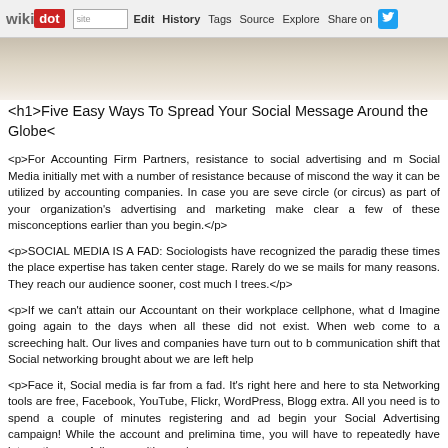wikidot | Edit | History | Tags | Source | Explore | Share on Twitter
[Figure (photo): Hero image showing a light beige/cream textured surface, possibly paper or fabric, cropped at the top of the article content area.]
<h1>Five Easy Ways To Spread Your Social Message Around the Globe<
<p>For Accounting Firm Partners, resistance to social advertising and m Social Media initially met with a number of resistance because of miscond the way it can be utilized by accounting companies. In case you are seve circle (or circus) as part of your organization's advertising and marketing make clear a few of these misconceptions earlier than you begin.</p>
<p>SOCIAL MEDIA IS A FAD: Sociologists have recognized the paradig these times the place expertise has taken center stage. Rarely do we se mails for many reasons. They reach our audience sooner, cost much l trees.</p>
<p>If we can't attain our Accountant on their workplace cellphone, what d Imagine going again to the days when all these did not exist. When web come to a screeching halt. Our lives and companies have turn out to b communication shift that Social networking brought about we are left help
<p>Face it, Social media is far from a fad. It's right here and here to sta Networking tools are free, Facebook, YouTube, Flickr, WordPress, Blogg extra. All you need is to spend a couple of minutes registering and ad begin your Social Advertising campaign! While the account and prelimina time, you will have to repeatedly have interaction your followers with up </p>
<p>Your time is efficacious and positively where your firm is worried there